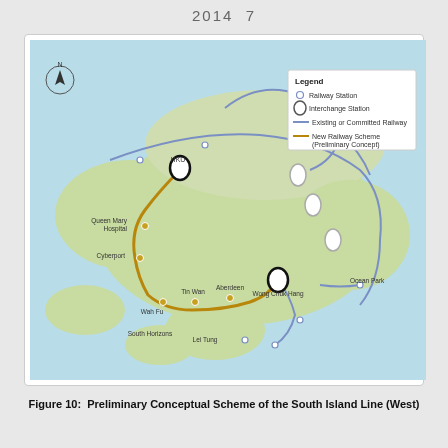2014  7
[Figure (map): Preliminary Conceptual Scheme of the South Island Line (West). A geographic map of Hong Kong showing railway lines. A gold/dark-yellow line (New Railway Scheme - Preliminary Concept) runs from HKU station in the north, through Queen Mary Hospital, Cyberport, Wah Fu, Tin Wan, Aberdeen (Ap Lei Chau), to Wong Chuk Hang interchange station. Existing or committed railway lines shown in blue/purple. Station markers shown as small circles. Interchange stations shown as white ovals with black outline. Legend in top right corner. North arrow in top left. Place names labeled: HKU, Queen Mary Hospital, Cyberport, Wah Fu, Tin Wan, Aberdeen (Ap Lei Chau), Wong Chuk Hang, Ocean Park, South Horizons, Lei Tung.]
Figure 10: Preliminary Conceptual Scheme of the South Island Line (West)